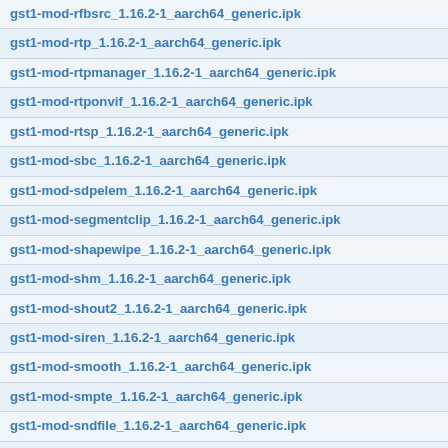gst1-mod-rfbsrc_1.16.2-1_aarch64_generic.ipk
gst1-mod-rtp_1.16.2-1_aarch64_generic.ipk
gst1-mod-rtpmanager_1.16.2-1_aarch64_generic.ipk
gst1-mod-rtponvif_1.16.2-1_aarch64_generic.ipk
gst1-mod-rtsp_1.16.2-1_aarch64_generic.ipk
gst1-mod-sbc_1.16.2-1_aarch64_generic.ipk
gst1-mod-sdpelem_1.16.2-1_aarch64_generic.ipk
gst1-mod-segmentclip_1.16.2-1_aarch64_generic.ipk
gst1-mod-shapewipe_1.16.2-1_aarch64_generic.ipk
gst1-mod-shm_1.16.2-1_aarch64_generic.ipk
gst1-mod-shout2_1.16.2-1_aarch64_generic.ipk
gst1-mod-siren_1.16.2-1_aarch64_generic.ipk
gst1-mod-smooth_1.16.2-1_aarch64_generic.ipk
gst1-mod-smpte_1.16.2-1_aarch64_generic.ipk
gst1-mod-sndfile_1.16.2-1_aarch64_generic.ipk
gst1-mod-soup_1.16.2-1_aarch64_generic.ipk
gst1-mod-spectrum_1.16.2-1_aarch64_generic.ipk
gst1-mod-speed_1.16.2-1_aarch64_generic.ipk
gst1-mod-speex_1.16.2-1_aarch64_generic.ipk
gst1-mod-subenc_1.16.2-1_aarch64_generic.ipk